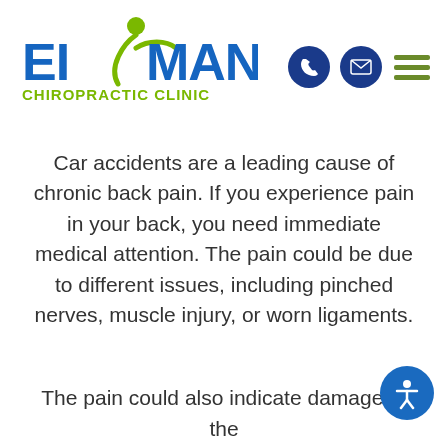[Figure (logo): Eisman Chiropractic Clinic logo with stylized green figure and blue/green text]
[Figure (other): Navigation icons: phone circle, email circle, and green hamburger menu]
Car accidents are a leading cause of chronic back pain. If you experience pain in your back, you need immediate medical attention. The pain could be due to different issues, including pinched nerves, muscle injury, or worn ligaments.
The pain could also indicate damage to the
[Figure (other): Blue circle accessibility icon (person figure in circle)]